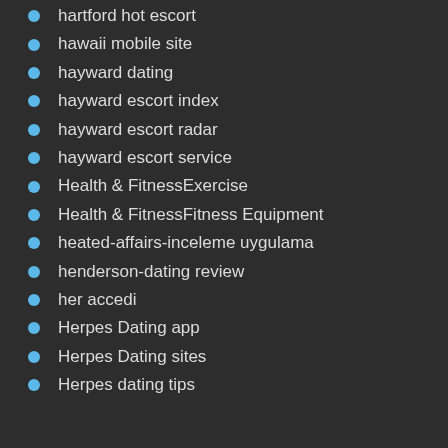hartford hot escort
hawaii mobile site
hayward dating
hayward escort index
hayward escort radar
hayward escort service
Health & FitnessExercise
Health & FitnessFitness Equipment
heated-affairs-inceleme uygulama
henderson-dating review
her accedi
Herpes Dating app
Herpes Dating sites
Herpes dating tips